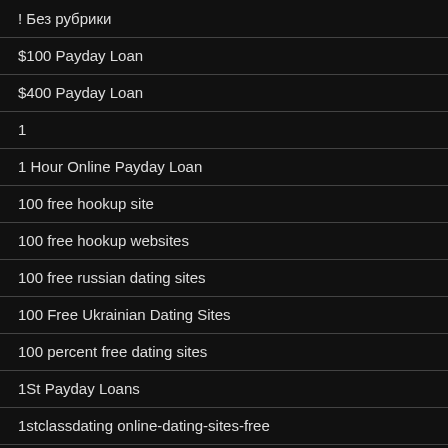! Без рубрики
$100 Payday Loan
$400 Payday Loan
1
1 Hour Online Payday Loan
100 free hookup site
100 free hookup websites
100 free russian dating sites
100 Free Ukrainian Dating Sites
100 percent free dating sites
1St Payday Loans
1stclassdating online-dating-sites-free